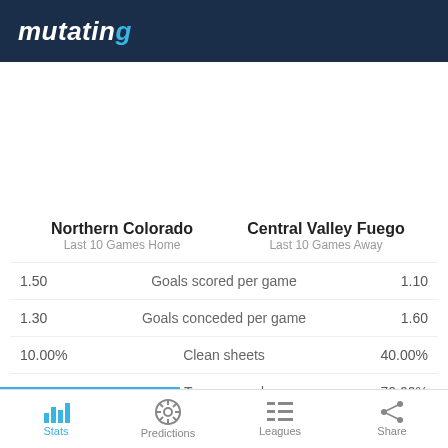mutating
|  | Stat |  |
| --- | --- | --- |
| Northern Colorado
Last 10 Games Home |  | Central Valley Fuego
Last 10 Games Away |
| 1.50 | Goals scored per game | 1.10 |
| 1.30 | Goals conceded per game | 1.60 |
| 10.00% | Clean sheets | 40.00% |
| 80.00% | Team scored | 70.00% |
Stats   Predictions   Leagues   Share